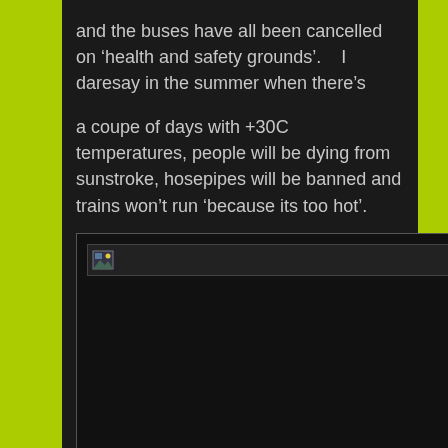and the buses have all been cancelled on ‘health and safety grounds’.   I daresay in the summer when there’s
a coupe of days with +30C temperatures, people will be dying from sunstroke, hosepipes will be banned and trains won’t run ‘because its too hot’.
[Figure (photo): A broken/unloaded image placeholder with a small image icon in the top-left corner. The image area is large and mostly black/dark.]
It Just shows how useless people in the south of England